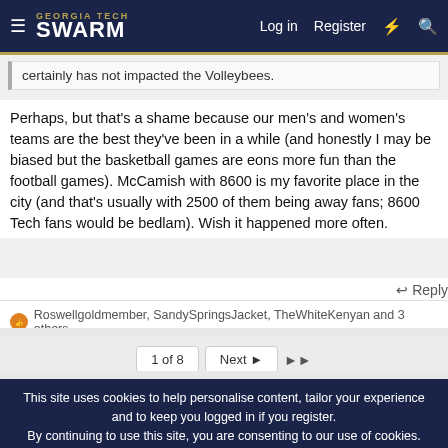GEORGIA TECH SWARM — Log in  Register
certainly has not impacted the Volleybees.
Perhaps, but that's a shame because our men's and women's teams are the best they've been in a while (and honestly I may be biased but the basketball games are eons more fun than the football games). McCamish with 8600 is my favorite place in the city (and that's usually with 2500 of them being away fans; 8600 Tech fans would be bedlam). Wish it happened more often.
↩ Reply
Roswellgoldmember, SandySpringsJacket, TheWhiteKenyan and 3 others
1 of 8   Next ▶   ▶▶
This site uses cookies to help personalise content, tailor your experience and to keep you logged in if you register.
By continuing to use this site, you are consenting to our use of cookies.
✓ Accept   Learn more...